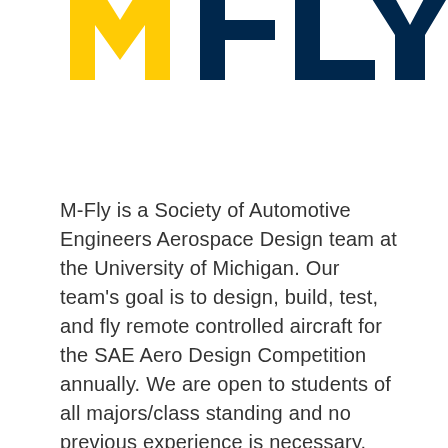[Figure (logo): M-Fly logo with bold yellow M and navy blue text 'FLY' partially visible, cropped at top of page]
M-Fly is a Society of Automotive Engineers Aerospace Design team at the University of Michigan. Our team's goal is to design, build, test, and fly remote controlled aircraft for the SAE Aero Design Competition annually. We are open to students of all majors/class standing and no previous experience is necessary.